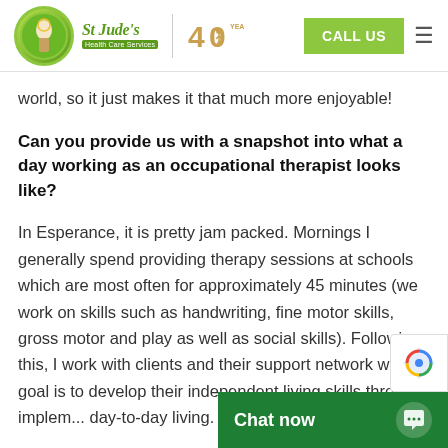St Jude's Health Care Services | 40 Years | CALL US
world, so it just makes it that much more enjoyable!
Can you provide us with a snapshot into what a day working as an occupational therapist looks like?
In Esperance, it is pretty jam packed. Mornings I generally spend providing therapy sessions at schools which are most often for approximately 45 minutes (we work on skills such as handwriting, fine motor skills, gross motor and play as well as social skills). Following this, I work with clients and their support network whose goal is to develop their independent living skills through implem... day-to-day living.  So...